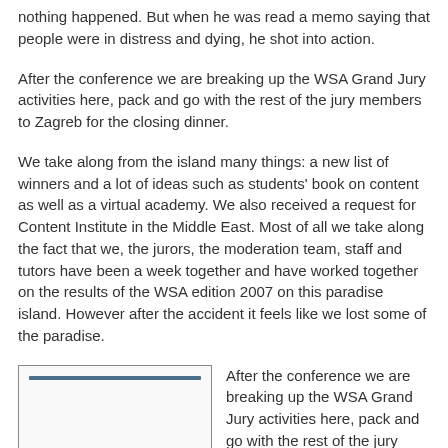nothing happened. But when he was read a memo saying that people were in distress and dying, he shot into action.
After the conference we are breaking up the WSA Grand Jury activities here, pack and go with the rest of the jury members to Zagreb for the closing dinner.
We take along from the island many things: a new list of winners and a lot of ideas such as students' book on content as well as a virtual academy. We also received a request for Content Institute in the Middle East. Most of all we take along the fact that we, the jurors, the moderation team, staff and tutors have been a week together and have worked together on the results of the WSA edition 2007 on this paradise island. However after the accident it feels like we lost some of the paradise.
[Figure (photo): Image placeholder with a horizontal dark blue bar near the top, bordered box]
After the conference we are breaking up the WSA Grand Jury activities here, pack and go with the rest of the jury members and some mebers